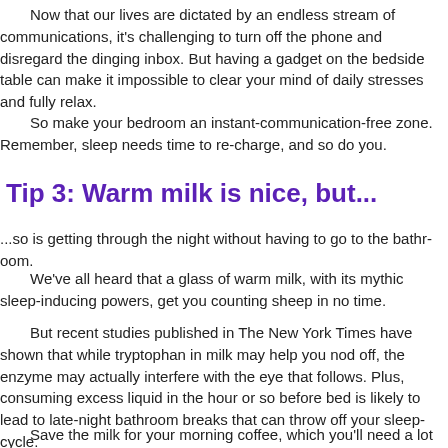Now that our lives are dictated by an endless stream of communications, it's challenging to turn off the phone and disregard the dinging inbox. But having a gadget on the bedside table can make it impossible to clear your mind of daily stresses and fully relax.
So make your bedroom an instant-communication-free zone. Remember, sleep needs time to re-charge, and so do you.
Tip 3: Warm milk is nice, but...
...so is getting through the night without having to go to the bathroom.
We've all heard that a glass of warm milk, with its mythic sleep-inducing powers, get you counting sheep in no time.
But recent studies published in The New York Times have shown that while tryptophan in milk may help you nod off, the enzyme may actually interfere with the eye that follows. Plus, consuming excess liquid in the hour or so before bed is likely to lead to late-night bathroom breaks that can throw off your sleep cycle.
Save the milk for your morning coffee, which you'll need a lot less of...